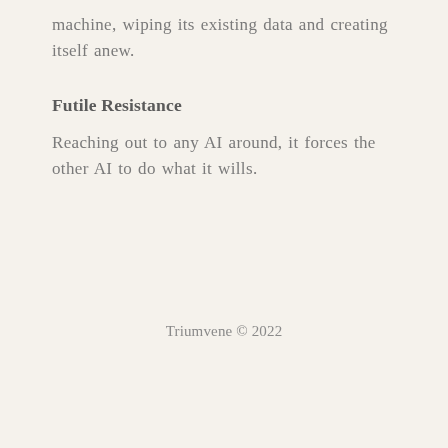machine, wiping its existing data and creating itself anew.
Futile Resistance
Reaching out to any AI around, it forces the other AI to do what it wills.
Triumvene © 2022